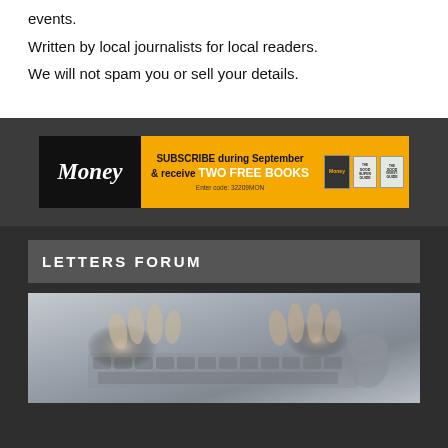events.
Written by local journalists for local readers.
We will not spam you or sell your details.
[Figure (infographic): Money magazine advertisement banner: 'SUBSCRIBE during September & receive TWO FREE BOOKS. Enter code: 32209MON']
LETTERS FORUM
[Figure (photo): Close-up photo of hands typing on a keyboard/using a mouse]